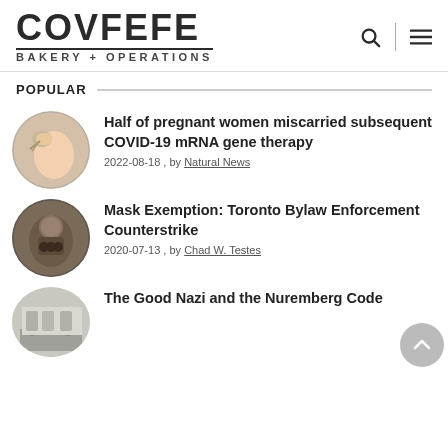COVFEFE BAKERY + OPERATIONS
POPULAR
Half of pregnant women miscarried subsequent COVID-19 mRNA gene therapy
2022-08-18 , by Natural News
Mask Exemption: Toronto Bylaw Enforcement Counterstrike
2020-07-13 , by Chad W. Testes
The Good Nazi and the Nuremberg Code